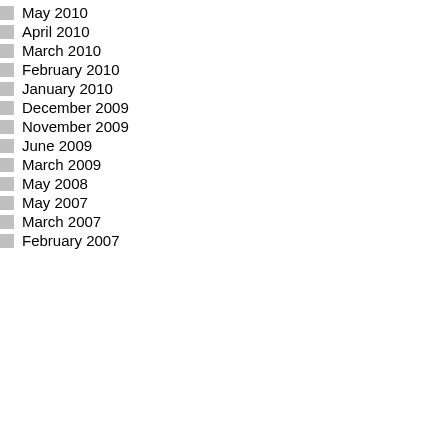May 2010
April 2010
March 2010
February 2010
January 2010
December 2009
November 2009
June 2009
March 2009
May 2008
May 2007
March 2007
February 2007
from a brick and mortar casino to play whenever you w